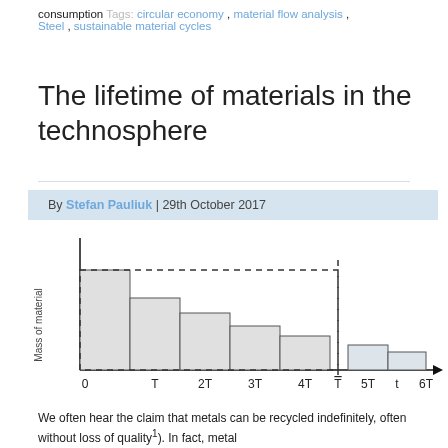consumption Tags: circular economy, material flow analysis, Steel, sustainable material cycles
The lifetime of materials in the technosphere
By Stefan Pauliuk | 29th October 2017
[Figure (bar-chart): Declining bar chart showing mass of material at successive time periods 0, T, 2T, 3T, 4T, with a dashed box indicating the retained mass at T̄, and continuing bars at 5T and 6T. Bars decrease stepwise from left to right.]
We often hear the claim that metals can be recycled indefinitely, often without loss of quality¹). In fact, metal